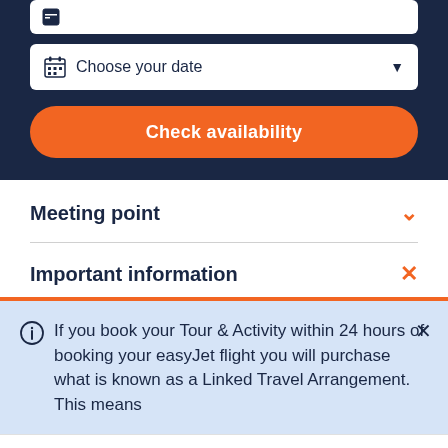[Figure (screenshot): Date picker input field with calendar icon showing 'Choose your date' placeholder and dropdown arrow]
[Figure (screenshot): Orange 'Check availability' button]
Meeting point
Important information
If you book your Tour & Activity within 24 hours of booking your easyJet flight you will purchase what is known as a Linked Travel Arrangement. This means
GetYourGuide uses cookies to give you the best possible service. If you continue browsing, you agree to the use of cookies. More details can be found in our privacy policy.